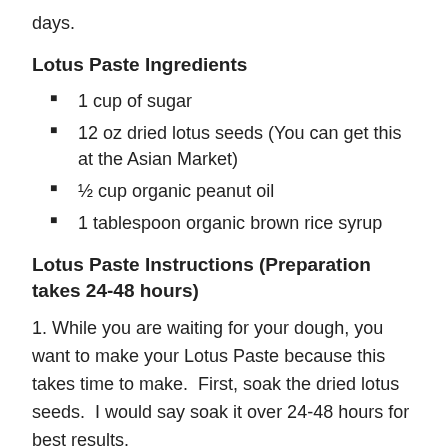days.
Lotus Paste Ingredients
1 cup of sugar
12 oz dried lotus seeds (You can get this at the Asian Market)
½ cup organic peanut oil
1 tablespoon organic brown rice syrup
Lotus Paste Instructions (Preparation takes 24-48 hours)
1. While you are waiting for your dough, you want to make your Lotus Paste because this takes time to make.  First, soak the dried lotus seeds.  I would say soak it over 24-48 hours for best results.